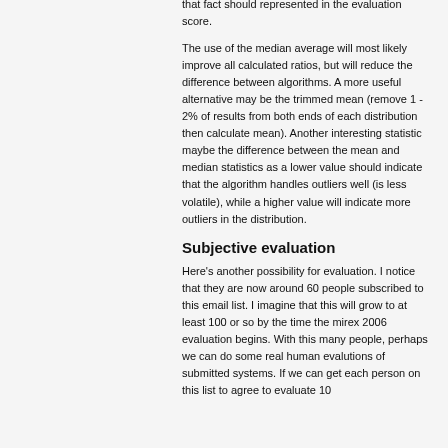that fact should represented in the evaluation score.
The use of the median average will most likely improve all calculated ratios, but will reduce the difference between algorithms. A more useful alternative may be the trimmed mean (remove 1 - 2% of results from both ends of each distribution then calculate mean). Another interesting statistic maybe the difference between the mean and median statistics as a lower value should indicate that the algorithm handles outliers well (is less volatile), while a higher value will indicate more outliers in the distribution.
Subjective evaluation
Here's another possibility for evaluation. I notice that they are now around 60 people subscribed to this email list. I imagine that this will grow to at least 100 or so by the time the mirex 2006 evaluation begins. With this many people, perhaps we can do some real human evalutions of submitted systems. If we can get each person on this list to agree to evaluate 10